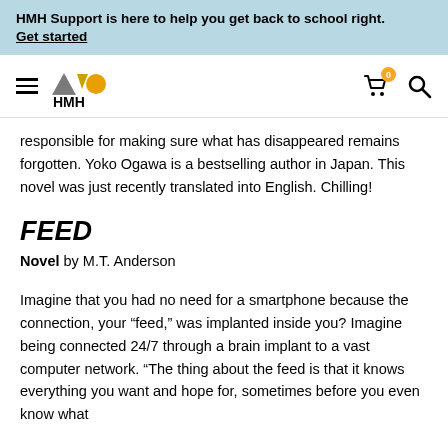HMH Support is here to help you get back to school right. Get started
[Figure (logo): HMH logo with hamburger menu, shopping cart with 0 badge, and search icon]
responsible for making sure what has disappeared remains forgotten. Yoko Ogawa is a bestselling author in Japan. This novel was just recently translated into English. Chilling!
FEED
Novel by M.T. Anderson
Imagine that you had no need for a smartphone because the connection, your “feed,” was implanted inside you? Imagine being connected 24/7 through a brain implant to a vast computer network. “The thing about the feed is that it knows everything you want and hope for, sometimes before you even know what